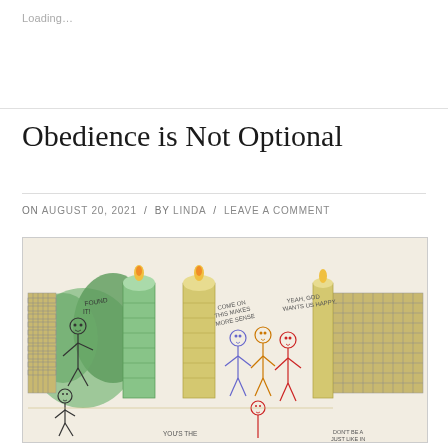Loading…
Obedience is Not Optional
ON AUGUST 20, 2021 / BY LINDA / LEAVE A COMMENT
[Figure (illustration): A children's hand-drawn colored pencil illustration showing stick figures near decorative gates with candles. Speech bubbles read: 'Found it!', 'Come on this makes more sense', 'Yeah, God wants us happy.' Additional text at bottom partially visible. Green bushes and yellow/gold fence/gate structures are visible.]